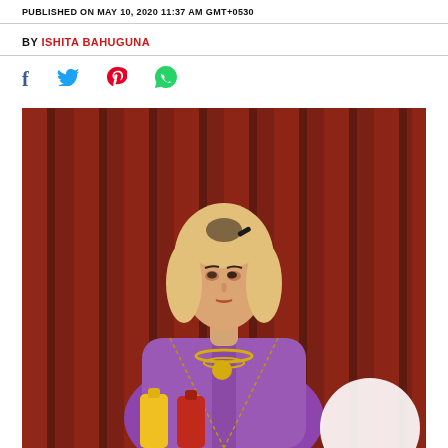PUBLISHED ON MAY 10, 2020 11:37 AM GMT+0530
BY ISHITA BAHUGUNA
[Figure (infographic): Social share icons row: Facebook (f), Twitter bird, Pinterest (P), WhatsApp (phone icon)]
[Figure (photo): A blonde woman in a purple tweed jacket with gold necklace accessories, posed in front of a red velvet curtain backdrop, with yellow and red condiment bottles at the bottom of the frame and a white circle element in the lower right corner.]